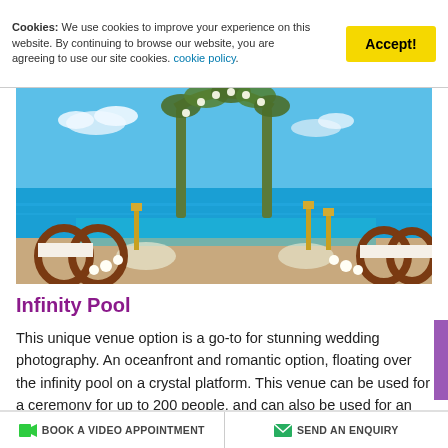Cookies: We use cookies to improve your experience on this website. By continuing to browse our website, you are agreeing to use our site cookies. cookie policy.
[Figure (photo): Outdoor oceanfront wedding ceremony setup at an infinity pool with a floral arch, white flowers, golden candle stands, and decorative chairs overlooking the blue ocean.]
Infinity Pool
This unique venue option is a go-to for stunning wedding photography. An oceanfront and romantic option, floating over the infinity pool on a crystal platform. This venue can be used for a ceremony for up to 200 people, and can also be used for an intimate and one of a kind rehearsal dinner. The venue is included in your wedding package, however there is a set-up fee of to assemble the crystal
BOOK A VIDEO APPOINTMENT    SEND AN ENQUIRY